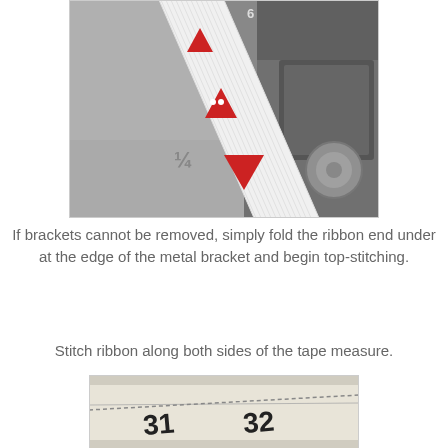[Figure (photo): Close-up photo of a sewing machine stitching a white grosgrain ribbon with red triangle arrows printed on it, placed against the sewing machine bed showing measurement markings.]
If  brackets cannot be removed, simply fold the ribbon end under
at the edge of the metal bracket and begin top-stitching.
Stitch ribbon along both sides of the tape measure.
[Figure (photo): Close-up photo of a tape measure showing numbers 31 and 32, with a ribbon being stitched along its edge.]